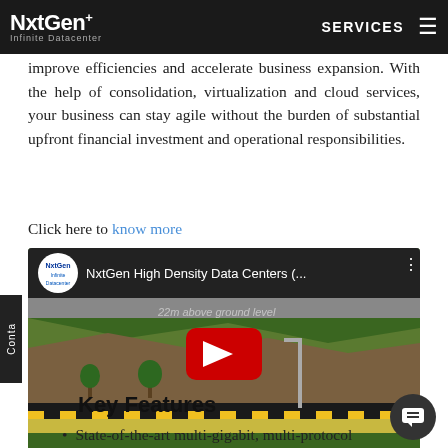NxtGen Infinite Datacenter | SERVICES
improve efficiencies and accelerate business expansion. With the help of consolidation, virtualization and cloud services, your business can stay agile without the burden of substantial upfront financial investment and operational responsibilities.
Click here to know more
[Figure (screenshot): YouTube video thumbnail showing NxtGen High Density Data Centers video, with NxtGen logo, video title 'NxtGen High Density Data Centers (...', and a red play button over a data center facility image.]
Key Features
State-of-the-art multi-gigabit, multi-protocol